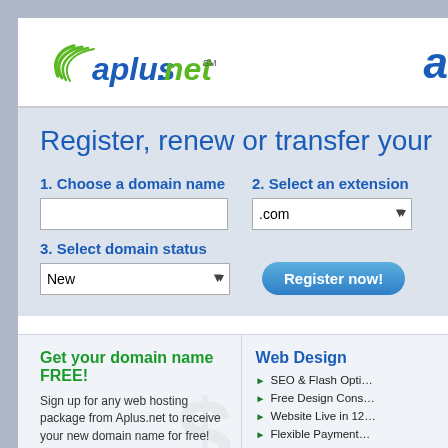[Figure (logo): Aplus.net logo with blue text and green swoosh icon]
Register, renew or transfer your
1. Choose a domain name
2. Select an extension
3. Select domain status
Get your domain name FREE!
Sign up for any web hosting package from Aplus.net to receive your new domain name for free!
Web Design
SEO & Flash Opti…
Free Design Cons…
Website Live in 12…
Flexible Payment…